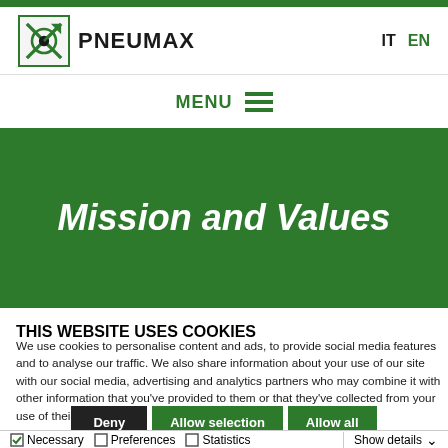[Figure (logo): Pneumax logo with stylized arrow/target icon and brand name PNEUMAX in bold uppercase]
IT EN
MENU
Mission and Values
THIS WEBSITE USES COOKIES
We use cookies to personalise content and ads, to provide social media features and to analyse our traffic. We also share information about your use of our site with our social media, advertising and analytics partners who may combine it with other information that you've provided to them or that they've collected from your use of their services.
Deny | Allow selection | Allow all
Necessary  Preferences  Statistics  Marketing  Show details